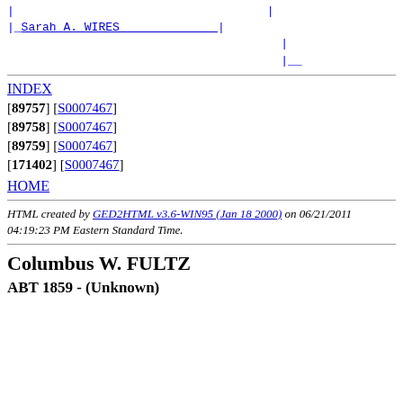[Figure (other): Genealogy tree diagram showing Sarah A. WIRES with connecting lines]
INDEX
[89757] [S0007467]
[89758] [S0007467]
[89759] [S0007467]
[171402] [S0007467]
HOME
HTML created by GED2HTML v3.6-WIN95 (Jan 18 2000) on 06/21/2011 04:19:23 PM Eastern Standard Time.
Columbus W. FULTZ
ABT 1859 - (Unknown)